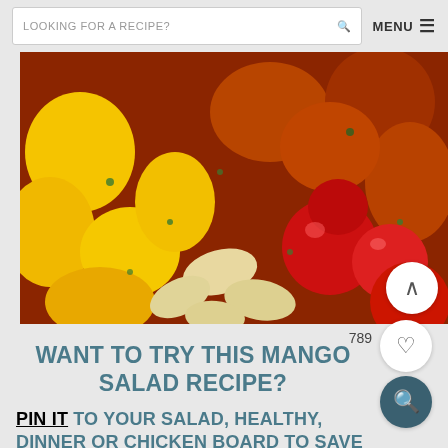LOOKING FOR A RECIPE?   MENU ≡
[Figure (photo): Close-up photo of a colorful mango salad with yellow mango chunks, red cherry tomatoes, cashew nuts, herbs, and grilled chicken pieces.]
789
WANT TO TRY THIS MANGO SALAD RECIPE?
PIN IT TO YOUR SALAD, HEALTHY, DINNER OR CHICKEN BOARD TO SAVE FOR LATER!